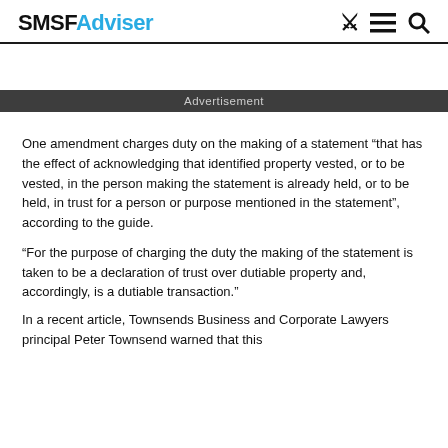SMSFAdviser
Advertisement
One amendment charges duty on the making of a statement “that has the effect of acknowledging that identified property vested, or to be vested, in the person making the statement is already held, or to be held, in trust for a person or purpose mentioned in the statement”, according to the guide.
“For the purpose of charging the duty the making of the statement is taken to be a declaration of trust over dutiable property and, accordingly, is a dutiable transaction.”
In a recent article, Townsends Business and Corporate Lawyers principal Peter Townsend warned that this